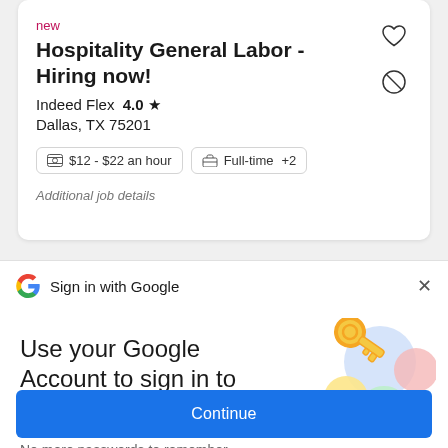new
Hospitality General Labor - Hiring now!
Indeed Flex  4.0 ★
Dallas, TX 75201
$12 - $22 an hour   Full-time +2
Additional job details
Sign in with Google
Use your Google Account to sign in to Indeed
No more passwords to remember. Signing in is fast, simple and secure.
[Figure (illustration): Google key illustration with colorful circles and a golden key]
Continue